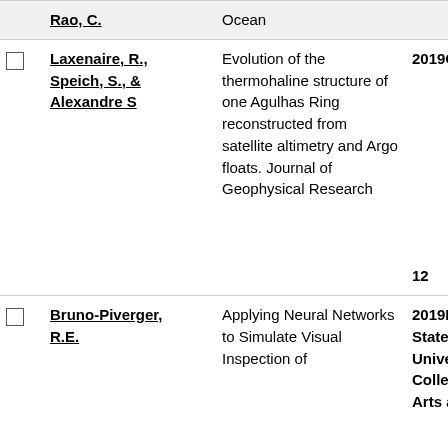|  | Author | Title | Year/Venue |
| --- | --- | --- | --- |
|  | Rao, C. | Ocean |  |
| ☐ | Laxenaire, R., Speich, S., & Alexandre S | Evolution of the thermohaline structure of one Agulhas Ring reconstructed from satellite altimetry and Argo floats. Journal of Geophysical Research | 2019 Oceans 12 |
| ☐ | Bruno-Piverger, R.E. | Applying Neural Networks to Simulate Visual Inspection of | 2019 Florida State University College of Arts and |